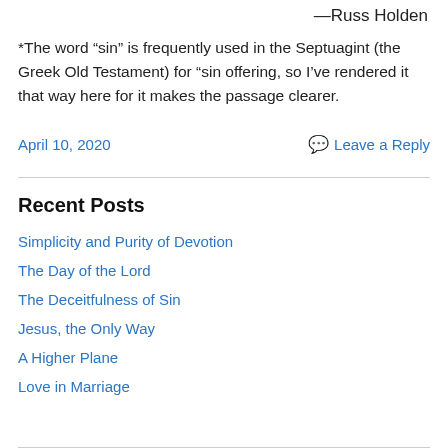—Russ Holden
*The word “sin” is frequently used in the Septuagint (the Greek Old Testament) for “sin offering, so I’ve rendered it that way here for it makes the passage clearer.
April 10, 2020
Leave a Reply
Recent Posts
Simplicity and Purity of Devotion
The Day of the Lord
The Deceitfulness of Sin
Jesus, the Only Way
A Higher Plane
Love in Marriage